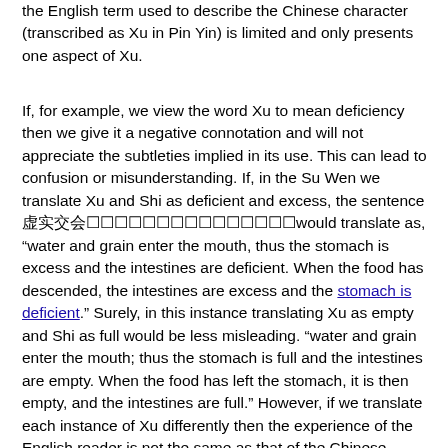the English term used to describe the Chinese character (transcribed as Xu in Pin Yin) is limited and only presents one aspect of Xu.
If, for example, we view the word Xu to mean deficiency then we give it a negative connotation and will not appreciate the subtleties implied in its use. This can lead to confusion or misunderstanding. If, in the Su Wen we translate Xu and Shi as deficient and excess, the sentence 虚実交会would translate as, "water and grain enter the mouth, thus the stomach is excess and the intestines are deficient. When the food has descended, the intestines are excess and the stomach is deficient." Surely, in this instance translating Xu as empty and Shi as full would be less misleading. "water and grain enter the mouth; thus the stomach is full and the intestines are empty. When the food has left the stomach, it is then empty, and the intestines are full." However, if we translate each instance of Xu differently then the experience of the English reader is not the same as that of the Chinese reader. The English reader will lose the connections that are